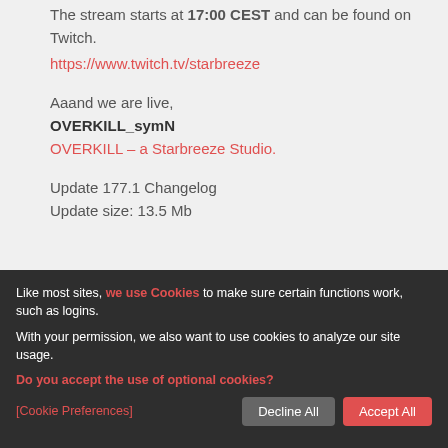The stream starts at 17:00 CEST and can be found on Twitch.
https://www.twitch.tv/starbreeze
Aaand we are live,
OVERKILL_symN
OVERKILL – a Starbreeze Studio.
Update 177.1 Changelog
Update size: 13.5 Mb
Like most sites, we use Cookies to make sure certain functions work, such as logins.

With your permission, we also want to use cookies to analyze our site usage.
Do you accept the use of optional cookies?

[Cookie Preferences]